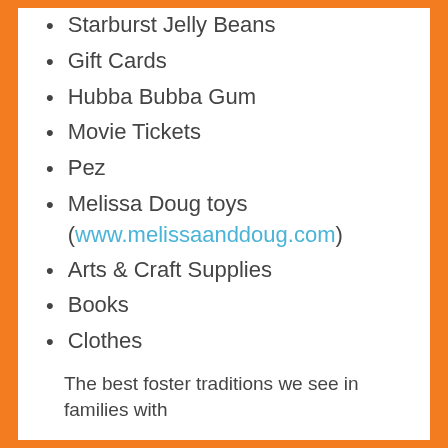Starburst Jelly Beans
Gift Cards
Hubba Bubba Gum
Movie Tickets
Pez
Melissa Doug toys (www.melissaanddoug.com)
Arts & Craft Supplies
Books
Clothes
Something your child has been begging you to buy
The best foster traditions we see in families with